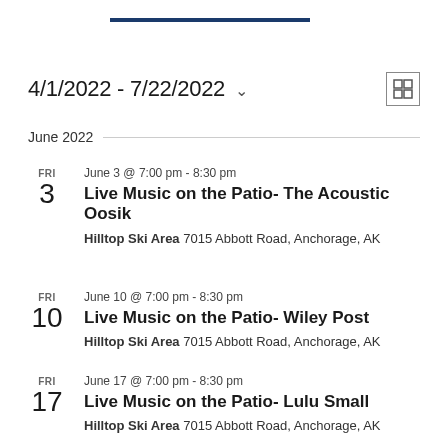4/1/2022 - 7/22/2022
June 2022
FRI 3 | June 3 @ 7:00 pm - 8:30 pm | Live Music on the Patio- The Acoustic Oosik | Hilltop Ski Area 7015 Abbott Road, Anchorage, AK
FRI 10 | June 10 @ 7:00 pm - 8:30 pm | Live Music on the Patio- Wiley Post | Hilltop Ski Area 7015 Abbott Road, Anchorage, AK
FRI 17 | June 17 @ 7:00 pm - 8:30 pm | Live Music on the Patio- Lulu Small | Hilltop Ski Area 7015 Abbott Road, Anchorage, AK